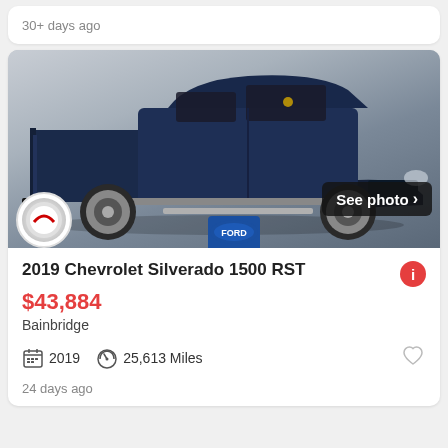30+ days ago
[Figure (photo): 2019 Chevrolet Silverado 1500 RST dark blue truck, side profile view, with dealer badges at bottom]
See photo >
2019 Chevrolet Silverado 1500 RST
$43,884
Bainbridge
2019   25,613 Miles
24 days ago